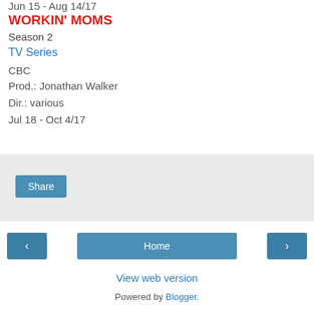Jun 15 - Aug 14/17
WORKIN' MOMS
Season 2
TV Series
CBC
Prod.: Jonathan Walker
Dir.: various
Jul 18 - Oct 4/17
[Figure (other): Share button widget area with light grey background]
Home navigation row with back arrow, Home button, and forward arrow
View web version
Powered by Blogger.